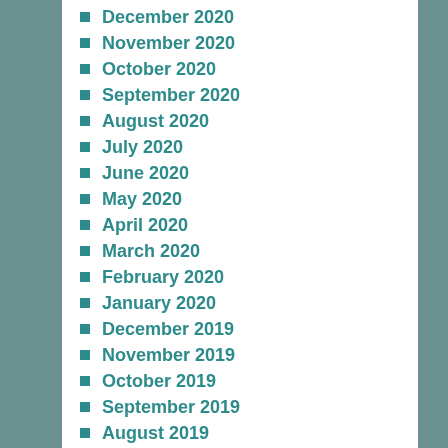December 2020
November 2020
October 2020
September 2020
August 2020
July 2020
June 2020
May 2020
April 2020
March 2020
February 2020
January 2020
December 2019
November 2019
October 2019
September 2019
August 2019
July 2019
June 2019
May 2019
April 2019
March 2019